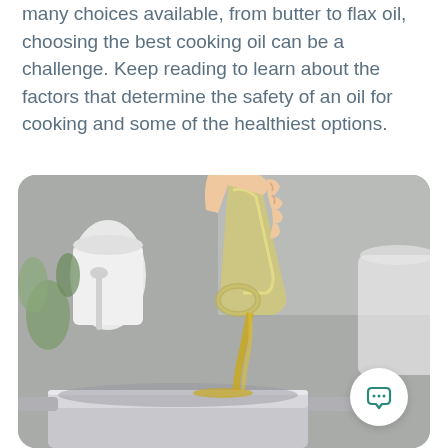many choices available, from butter to flax oil, choosing the best cooking oil can be a challenge. Keep reading to learn about the factors that determine the safety of an oil for cooking and some of the healthiest options.
[Figure (photo): A hand pouring golden cooking oil from a glass pitcher into a stainless steel pan, with a white ceramic container and green herbs visible in the background. A chat bubble icon button appears in the bottom-right corner of the image.]